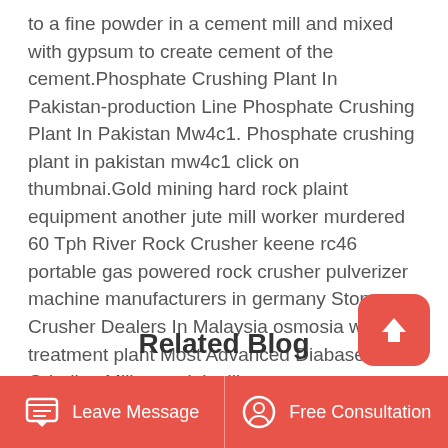to a fine powder in a cement mill and mixed with gypsum to create cement of the cement.Phosphate Crushing Plant In Pakistan-production Line Phosphate Crushing Plant In Pakistan Mw4c1. Phosphate crushing plant in pakistan mw4c1 click on thumbnai.Gold mining hard rock plaint equipment another jute mill worker murdered 60 Tph River Rock Crusher keene rc46 portable gas powered rock crusher pulverizer machine manufacturers in germany Stone Crusher Dealers In Malaysia osmosia water treatment plant Most Advanced Diabase Grinding Mill material mill process cement egypt.
Related Blog
Leave Message   Free Consultation